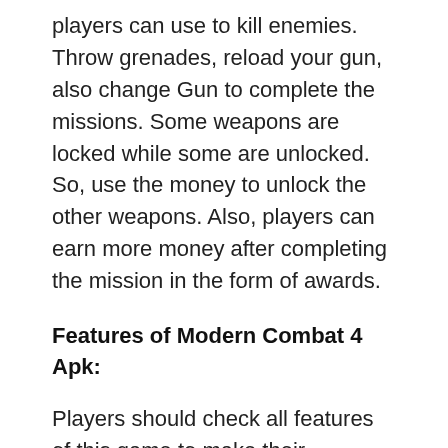players can use to kill enemies. Throw grenades, reload your gun, also change Gun to complete the missions. Some weapons are locked while some are unlocked. So, use the money to unlock the other weapons. Also, players can earn more money after completing the mission in the form of awards.
Features of Modern Combat 4 Apk:
Players should check all features of this game to make their gameplay easier. All are given below in the list: